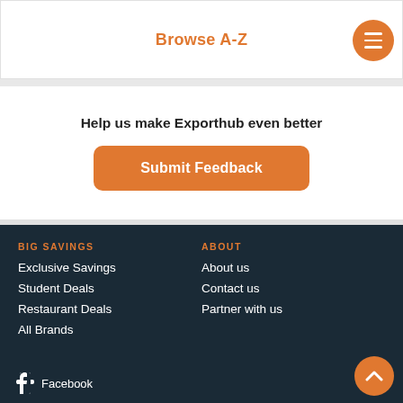Browse A-Z
Help us make Exporthub even better
Submit Feedback
BIG SAVINGS
Exclusive Savings
Student Deals
Restaurant Deals
All Brands
ABOUT
About us
Contact us
Partner with us
Facebook